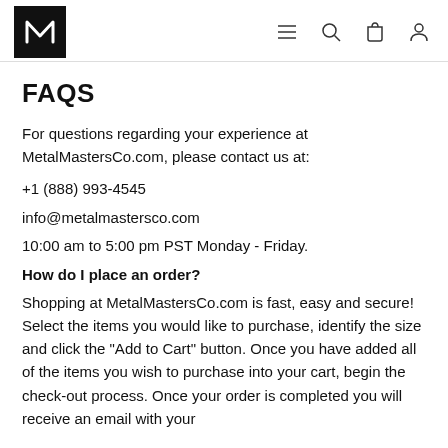MetalMastersCo navigation header with logo, menu, search, cart, and account icons
FAQS
For questions regarding your experience at MetalMastersCo.com, please contact us at:
+1 (888) 993-4545
info@metalmastersco.com
10:00 am to 5:00 pm PST Monday - Friday.
How do I place an order?
Shopping at MetalMastersCo.com is fast, easy and secure! Select the items you would like to purchase, identify the size and click the "Add to Cart" button. Once you have added all of the items you wish to purchase into your cart, begin the check-out process. Once your order is completed you will receive an email with your